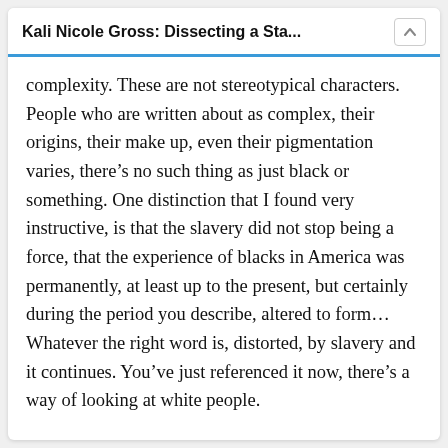Kali Nicole Gross: Dissecting a Sta...
complexity. These are not stereotypical characters. People who are written about as complex, their origins, their make up, even their pigmentation varies, there’s no such thing as just black or something. One distinction that I found very instructive, is that the slavery did not stop being a force, that the experience of blacks in America was permanently, at least up to the present, but certainly during the period you describe, altered to form…Whatever the right word is, distorted, by slavery and it continues. You’ve just referenced it now, there’s a way of looking at white people.